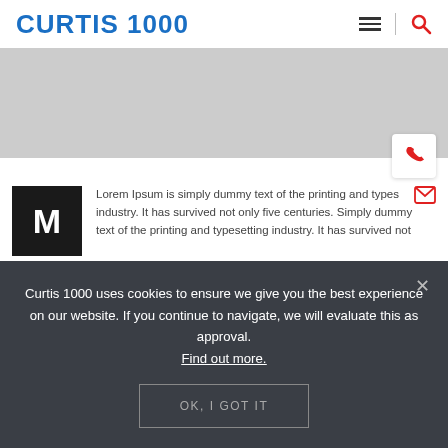CURTIS 1000
[Figure (illustration): Gray banner/hero image placeholder]
[Figure (illustration): White phone icon bubble in bottom-right of banner]
[Figure (illustration): Black square avatar with letter M]
Lorem Ipsum is simply dummy text of the printing and typesetting industry. It has survived not only five centuries. Simply dummy text of the printing and typesetting industry. It has survived not
Curtis 1000 uses cookies to ensure we give you the best experience on our website. If you continue to navigate, we will evaluate this as approval. Find out more.
OK, I GOT IT